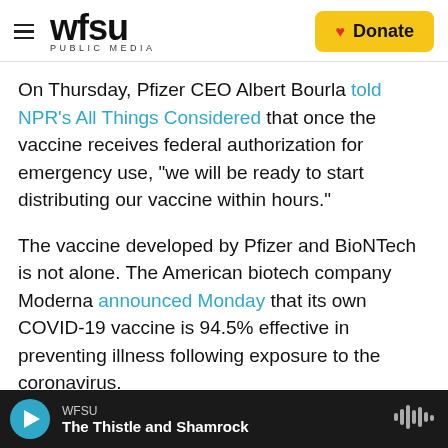WFSU PUBLIC MEDIA | Donate
On Thursday, Pfizer CEO Albert Bourla told NPR's All Things Considered that once the vaccine receives federal authorization for emergency use, "we will be ready to start distributing our vaccine within hours."
The vaccine developed by Pfizer and BioNTech is not alone. The American biotech company Moderna announced Monday that its own COVID-19 vaccine is 94.5% effective in preventing illness following exposure to the coronavirus.
Moderna is also expected to file a request with the
WFSU — The Thistle and Shamrock